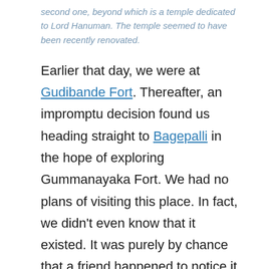second one, beyond which is a temple dedicated to Lord Hanuman. The temple seemed to have been recently renovated.
Earlier that day, we were at Gudibande Fort. Thereafter, an impromptu decision found us heading straight to Bagepalli in the hope of exploring Gummanayaka Fort. We had no plans of visiting this place. In fact, we didn't even know that it existed. It was purely by chance that a friend happened to notice it on Google Maps the day before and had casually mentioned it to me. The pictures looked impressive and when I mentioned it to S and A, they readily agreed. Quick research on the spot and we learnt that we needed to go to a village named Gummanayakana Palya.